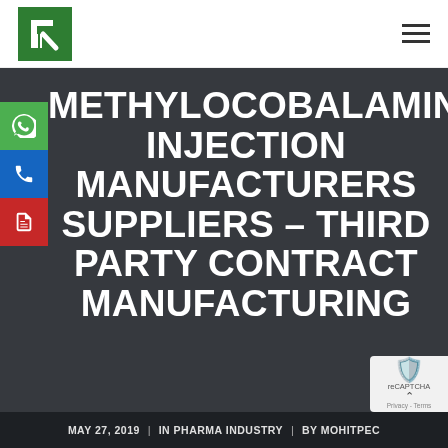[Figure (logo): Green square logo with white letter/icon mark]
METHYLOCOBALAMIN INJECTION MANUFACTURERS SUPPLIERS – THIRD PARTY CONTRACT MANUFACTURING
MAY 27, 2019 | IN PHARMA INDUSTRY | BY MOHITPEC